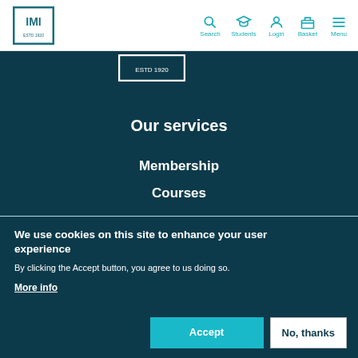IMI ESTD 1920 — Search, Students, Login, Basket, Menu navigation bar
[Figure (logo): IMI logo partial (ESTD 1920) on dark teal background]
Our services
Membership
Courses
We use cookies on this site to enhance your user experience
By clicking the Accept button, you agree to us doing so.
More info
Accept
No, thanks